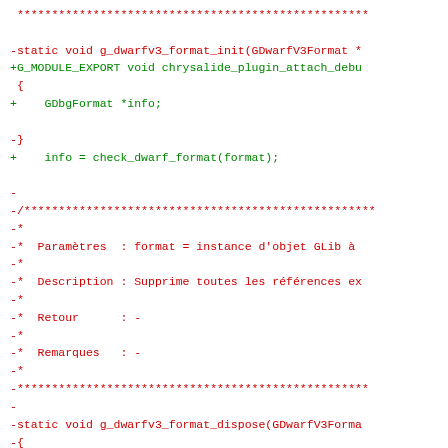[Figure (other): Source code diff showing removal of g_dwarfv3_format_init and addition of G_MODULE_EXPORT chrysalide_plugin_attach_debug function, with changes to GDbgFormat info handling, check_dwarf_format call, and g_dwarfv3_format_dispose function body. Red lines are removals, green lines are additions.]